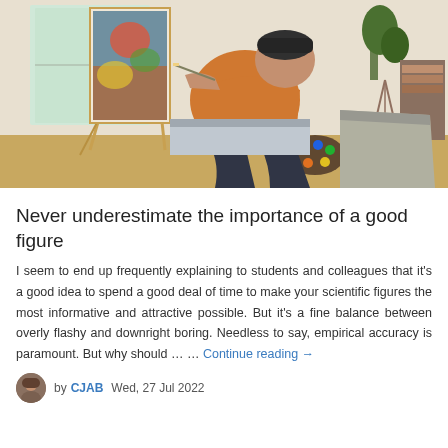[Figure (photo): A young man wearing an orange t-shirt and black beanie, painting on a canvas on an easel while holding a colorful paint palette. He is crouching and leaning toward the canvas in what appears to be a home studio setting with plants and furniture in the background.]
Never underestimate the importance of a good figure
I seem to end up frequently explaining to students and colleagues that it's a good idea to spend a good deal of time to make your scientific figures the most informative and attractive possible. But it's a fine balance between overly flashy and downright boring. Needless to say, empirical accuracy is paramount. But why should … … Continue reading →
by CJAB   Wed, 27 Jul 2022